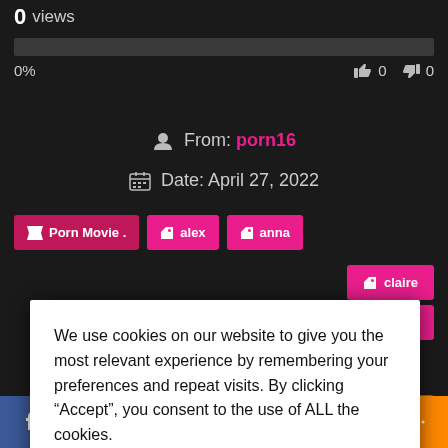0 views
0%   👍 0  👎 0
From: porn16
Date: April 27, 2022
Porn Movie .
alex
anna
claire
under
We use cookies on our website to give you the most relevant experience by remembering your preferences and repeat visits. By clicking “Accept”, you consent to the use of ALL the cookies.
Cookie settings
ACCEPT